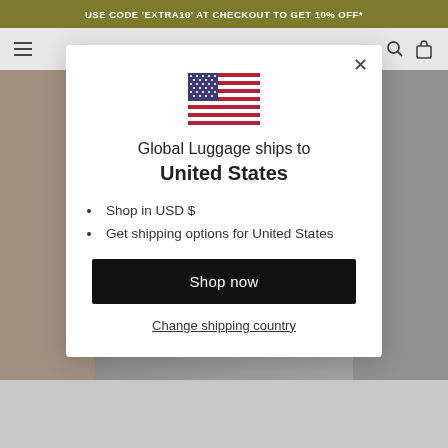USE CODE 'EXTRA10' AT CHECKOUT TO GET 10% OFF*
[Figure (screenshot): Website navigation bar with hamburger menu icon on left and search/bag icons on right]
[Figure (photo): Background photo of luggage and bags, partially obscured by modal overlay]
[Figure (illustration): United States flag SVG illustration]
Global Luggage ships to
United States
Shop in USD $
Get shipping options for United States
Shop now
Change shipping country